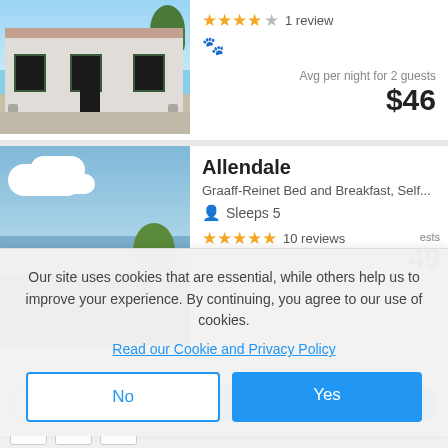[Figure (photo): Photo of a white-walled house with dark window shutters and front garden]
★★★★☆ 1 review
🐾
Avg per night for 2 guests
$46
Allendale
Graaff-Reinet Bed and Breakfast, Self...
Sleeps 5
★★★★★ 10 reviews
Avg per night for 2 guests
49
Our site uses cookies that are essential, while others help us to improve your experience. By continuing, you agree to our use of cookies.
Read our Cookie and Privacy Policy
No
Yes
Next
Filters